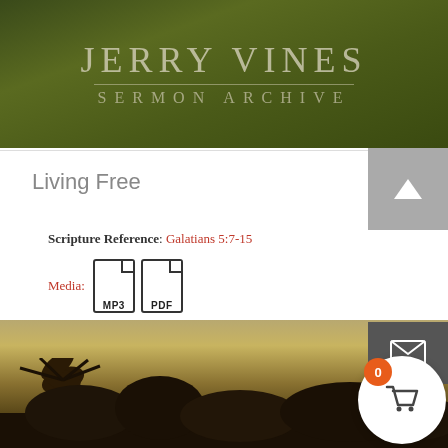[Figure (screenshot): Jerry Vines Sermon Archive website header banner with dark green grass background, showing 'JERRY VINES' in large serif letters and 'SERMON ARCHIVE' below with a horizontal divider line.]
Living Free
Scripture Reference: Galatians 5:7-15
Media: [MP3 icon] [PDF icon]
$3.99
[Figure (photo): Landscape photo with warm golden sky and dark silhouette of palm trees and other trees at bottom. Website UI overlaid with a grey up-arrow scroll button, dark email button, orange cart badge showing 0, and white circular cart button.]